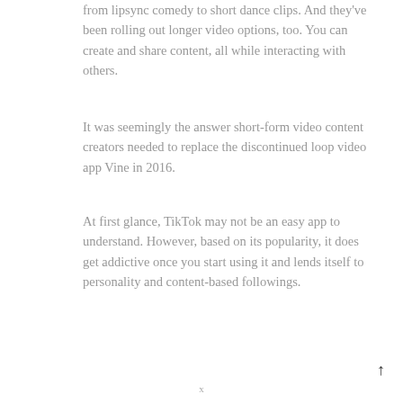from lipsync comedy to short dance clips. And they've been rolling out longer video options, too. You can create and share content, all while interacting with others.
It was seemingly the answer short-form video content creators needed to replace the discontinued loop video app Vine in 2016.
At first glance, TikTok may not be an easy app to understand. However, based on its popularity, it does get addictive once you start using it and lends itself to personality and content-based followings.